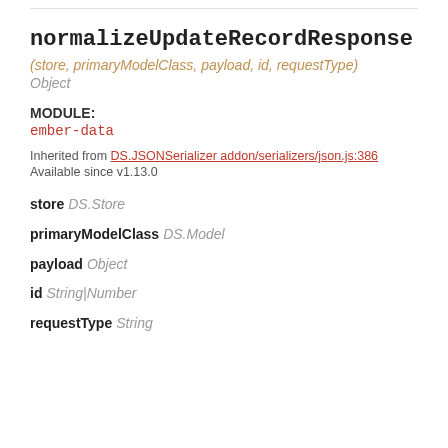normalizeUpdateRecordResponse
(store, primaryModelClass, payload, id, requestType)
Object
MODULE:
ember-data
Inherited from DS.JSONSerializer addon/serializers/json.js:386
Available since v1.13.0
store DS.Store
primaryModelClass DS.Model
payload Object
id String|Number
requestType String